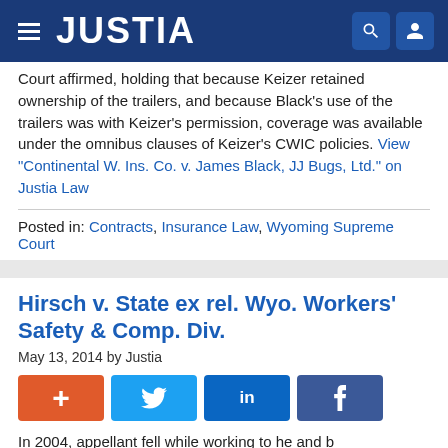JUSTIA
Court affirmed, holding that because Keizer retained ownership of the trailers, and because Black's use of the trailers was with Keizer's permission, coverage was available under the omnibus clauses of Keizer's CWIC policies. View "Continental W. Ins. Co. v. James Black, JJ Bugs, Ltd." on Justia Law
Posted in: Contracts, Insurance Law, Wyoming Supreme Court
Hirsch v. State ex rel. Wyo. Workers' Safety & Comp. Div.
May 13, 2014 by Justia
In 2004, appellant fell while working...